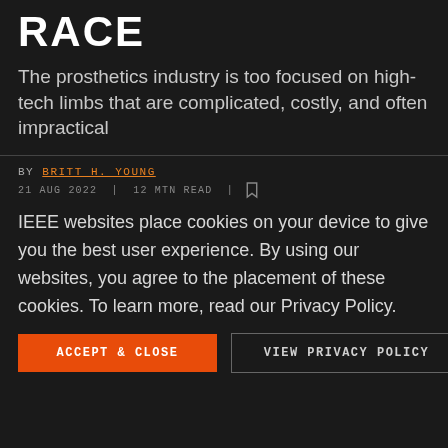RACE
The prosthetics industry is too focused on high-tech limbs that are complicated, costly, and often impractical
BY BRITT H. YOUNG
21 AUG 2022 | 12 MTN READ |
IEEE websites place cookies on your device to give you the best user experience. By using our websites, you agree to the placement of these cookies. To learn more, read our Privacy Policy.
ACCEPT & CLOSE   VIEW PRIVACY POLICY